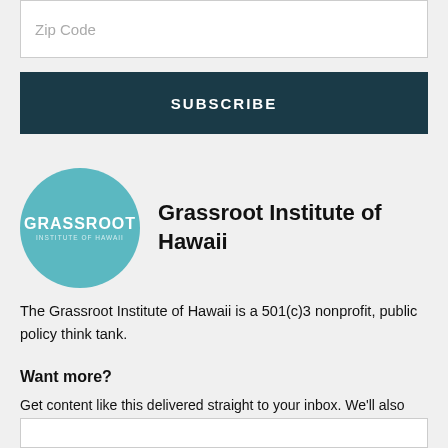Zip Code
[Figure (other): Subscribe button — dark teal rectangle with white bold text SUBSCRIBE]
[Figure (logo): Grassroot Institute of Hawaii circular teal logo with white text]
Grassroot Institute of Hawaii
The Grassroot Institute of Hawaii is a 501(c)3 nonprofit, public policy think tank.
Want more?
Get content like this delivered straight to your inbox. We'll also send updates on what we're doing to make Hawaii affordable for everyone.